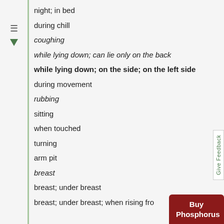night; in bed
during chill
coughing
while lying down; can lie only on the back
while lying down; on the side; on the left side
during movement
rubbing
sitting
when touched
turning
arm pit
breast
breast; under breast
breast; under breast; when rising from a s…